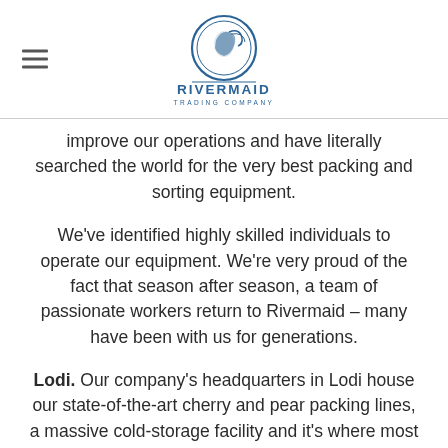[Figure (logo): Rivermaid Trading Company logo — circular emblem with a profile figure in blue, with decorative lines, and text 'RIVERMAID TRADING COMPANY' below]
improve our operations and have literally searched the world for the very best packing and sorting equipment.
We've identified highly skilled individuals to operate our equipment. We're very proud of the fact that season after season, a team of passionate workers return to Rivermaid – many have been with us for generations.
Lodi. Our company's headquarters in Lodi house our state-of-the-art cherry and pear packing lines, a massive cold-storage facility and it's where most of